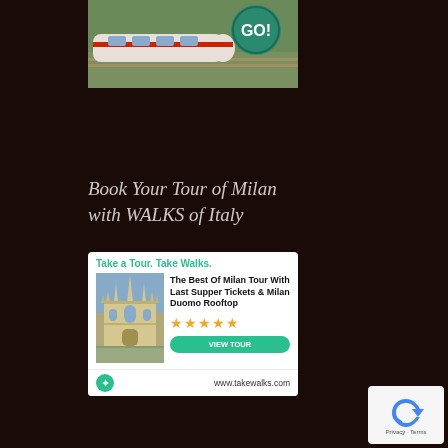[Figure (photo): A high-speed train on tracks with a green GO! road sign, aerial/countryside view]
Book Your Tour of Milan with WALKS of Italy
[Figure (infographic): Advertisement for WALKS of Italy - Take a Tour. Take Walks. The Best Of Milan Tour With Last Supper Tickets & Milan Duomo Rooftop, five star rating, VIEW TOUR button, www.takewalks.com]
[Figure (other): reCAPTCHA widget showing Privacy - Terms]